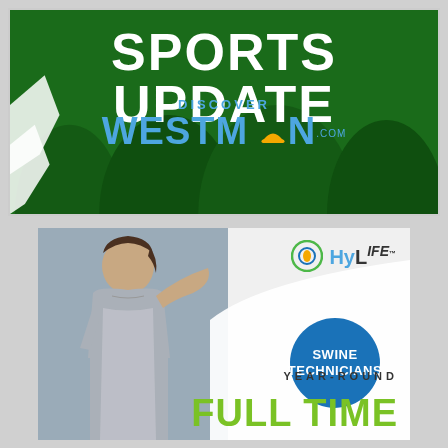[Figure (illustration): Sports Update banner with dark green background, white silhouettes of athletes, text 'SPORTS UPDATE' in bold white and 'DISCOVER WESTMAN' with a sun logo in blue]
[Figure (illustration): HyLife job advertisement showing a female worker in a grey t-shirt, HyLife logo in top right, blue circle badge reading 'SWINE TECHNICIANS', text 'YEAR-ROUND FULL TIME' in green bold letters]